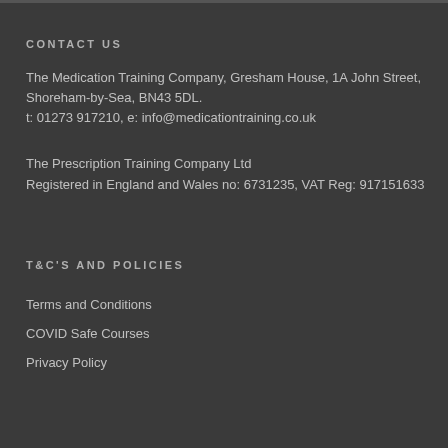CONTACT US
The Medication Training Company, Gresham House, 1A John Street, Shoreham-by-Sea, BN43 5DL.
t: 01273 917210, e: info@medicationtraining.co.uk
The Prescription Training Company Ltd
Registered in England and Wales no: 6731235, VAT Reg: 917151633
T&C'S AND POLICIES
Terms and Conditions
COVID Safe Courses
Privacy Policy